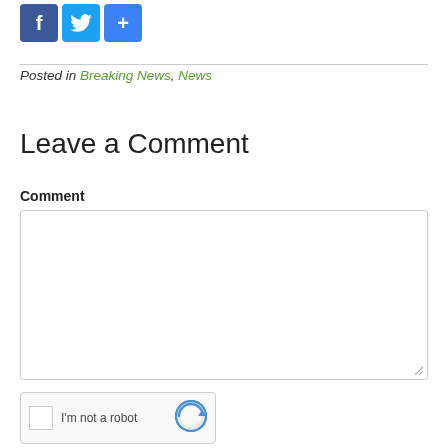[Figure (other): Social media share icons: Facebook (blue f), Twitter (blue bird), Google+ (blue +)]
Posted in Breaking News, News
Leave a Comment
Comment
[Figure (other): Large empty comment text area input box with resize handle]
[Figure (other): reCAPTCHA widget: checkbox, 'I'm not a robot' text, and reCAPTCHA logo]